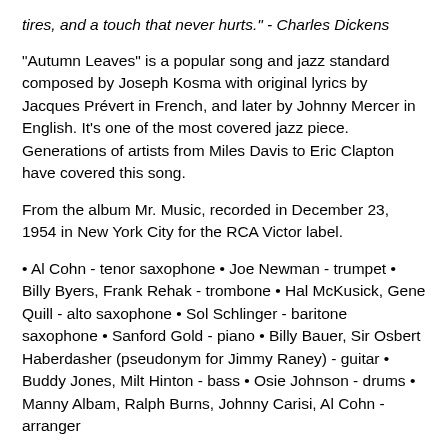tires, and a touch that never hurts." - Charles Dickens
"Autumn Leaves" is a popular song and jazz standard composed by Joseph Kosma with original lyrics by Jacques Prévert in French, and later by Johnny Mercer in English. It's one of the most covered jazz piece. Generations of artists from Miles Davis to Eric Clapton have covered this song.
From the album Mr. Music, recorded in December 23, 1954 in New York City for the RCA Victor label.
• Al Cohn - tenor saxophone • Joe Newman - trumpet • Billy Byers, Frank Rehak - trombone • Hal McKusick, Gene Quill - alto saxophone • Sol Schlinger - baritone saxophone • Sanford Gold - piano • Billy Bauer, Sir Osbert Haberdasher (pseudonym for Jimmy Raney) - guitar • Buddy Jones, Milt Hinton - bass • Osie Johnson - drums • Manny Albam, Ralph Burns, Johnny Carisi, Al Cohn - arranger
Al Cohn (November 24, 1925 – February 15, 1988) was an American jazz saxophonist, arranger and composer. He came to prominence in the band of clarinetist Woody